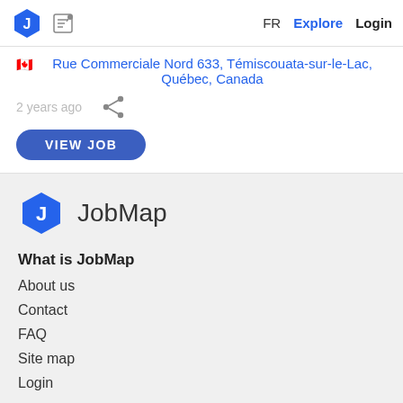FR  Explore  Login
🇨🇦 Rue Commerciale Nord 633, Témiscouata-sur-le-Lac, Québec, Canada
2 years ago
VIEW JOB
[Figure (logo): JobMap hexagon logo and brand name in footer]
What is JobMap
About us
Contact
FAQ
Site map
Login